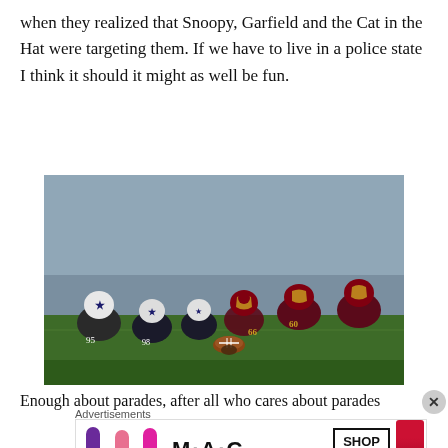when they realized that Snoopy, Garfield and the Cat in the Hat were targeting them. If we have to live in a police state I think it should it might as well be fun.
[Figure (photo): NFL football game line of scrimmage photo showing Dallas Cowboys (white helmets with star) vs Washington Redskins (burgundy/gold helmets) players lined up before a snap]
Enough about parades, after all who cares about parades
Advertisements
[Figure (photo): MAC Cosmetics advertisement showing colorful lipsticks (purple, pink, hot pink) with MAC logo and SHOP NOW button, and a red lipstick on the right]